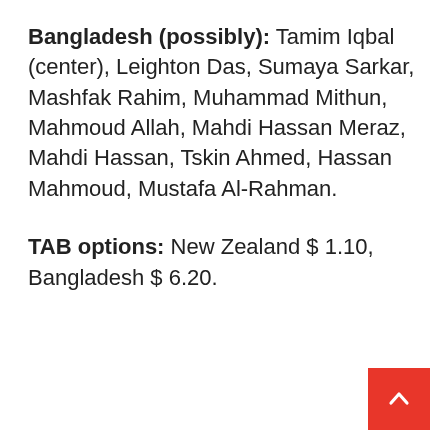Bangladesh (possibly): Tamim Iqbal (center), Leighton Das, Sumaya Sarkar, Mashfak Rahim, Muhammad Mithun, Mahmoud Allah, Mahdi Hassan Meraz, Mahdi Hassan, Tskin Ahmed, Hassan Mahmoud, Mustafa Al-Rahman.
TAB options: New Zealand $ 1.10, Bangladesh $ 6.20.